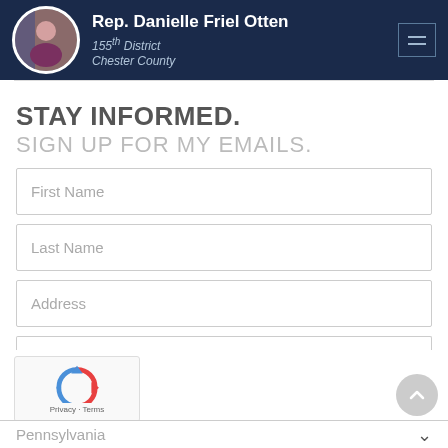Rep. Danielle Friel Otten
155th District
Chester County
STAY INFORMED.
SIGN UP FOR MY EMAILS.
First Name
Last Name
Address
Pennsylvania